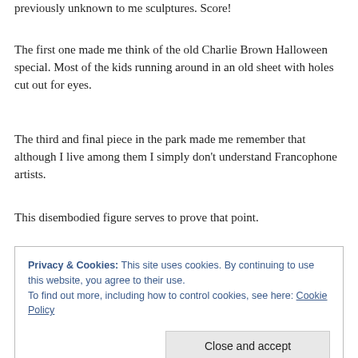previously unknown to me sculptures. Score!
The first one made me think of the old Charlie Brown Halloween special. Most of the kids running around in an old sheet with holes cut out for eyes.
The third and final piece in the park made me remember that although I live among them I simply don't understand Francophone artists.
This disembodied figure serves to prove that point.
Thanks for joining me again today, hope you enjoyed your
Privacy & Cookies: This site uses cookies. By continuing to use this website, you agree to their use.
To find out more, including how to control cookies, see here: Cookie Policy